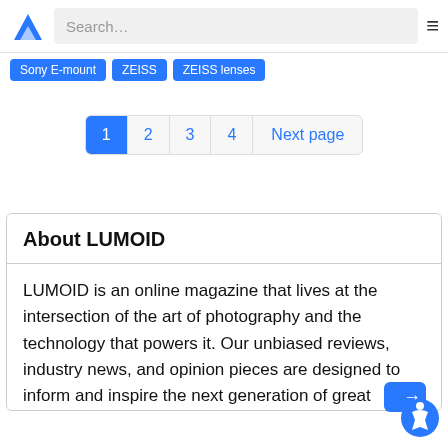Search…
Sony E-mount
ZEISS
ZEISS lenses
1 2 3 4 Next page
About LUMOID
LUMOID is an online magazine that lives at the intersection of the art of photography and the technology that powers it. Our unbiased reviews, industry news, and opinion pieces are designed to inform and inspire the next generation of great